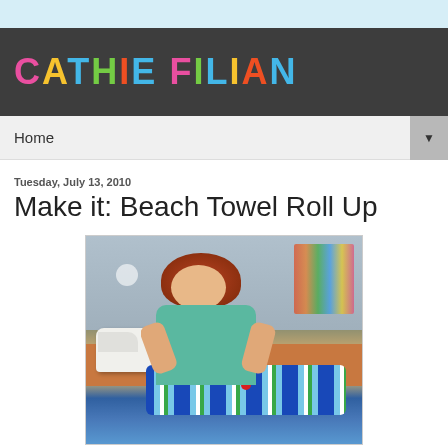[Figure (photo): Blog banner with dark chalkboard background and colorful block letters spelling CATHIE FILIAN]
Home ▼
Tuesday, July 13, 2010
Make it: Beach Towel Roll Up
[Figure (photo): Woman with red hair smiling while sewing a striped beach towel on a white sewing machine in a colorful craft room]